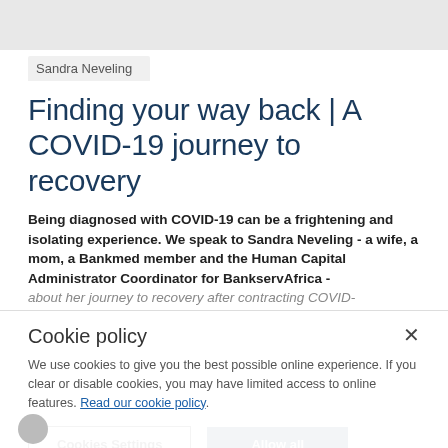Sandra Neveling
Finding your way back | A COVID-19 journey to recovery
Being diagnosed with COVID-19 can be a frightening and isolating experience. We speak to Sandra Neveling - a wife, a mom, a Bankmed member and the Human Capital Administrator Coordinator for BankservAfrica - about her journey to recovery after contracting COVID-
Cookie policy
We use cookies to give you the best possible online experience. If you clear or disable cookies, you may have limited access to online features. Read our cookie policy.